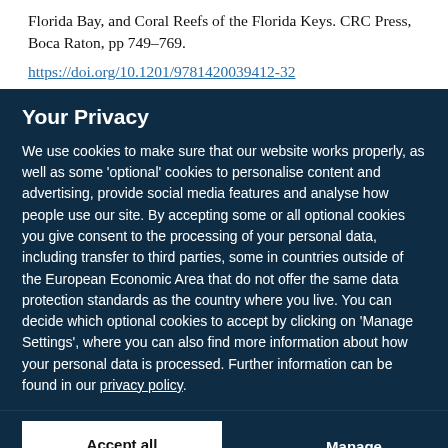Florida Bay, and Coral Reefs of the Florida Keys. CRC Press, Boca Raton, pp 749–769.
https://doi.org/10.1201/9781420039412-32
Your Privacy
We use cookies to make sure that our website works properly, as well as some 'optional' cookies to personalise content and advertising, provide social media features and analyse how people use our site. By accepting some or all optional cookies you give consent to the processing of your personal data, including transfer to third parties, some in countries outside of the European Economic Area that do not offer the same data protection standards as the country where you live. You can decide which optional cookies to accept by clicking on 'Manage Settings', where you can also find more information about how your personal data is processed. Further information can be found in our privacy policy.
Accept all cookies
Manage preferences